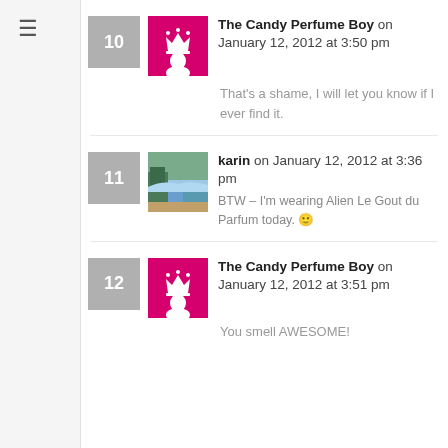The Candy Perfume Boy on January 12, 2012 at 3:50 pm
That's a shame, I will let you know if I ever find it.
karin on January 12, 2012 at 3:36 pm
BTW – I'm wearing Alien Le Gout du Parfum today. 🙂
The Candy Perfume Boy on January 12, 2012 at 3:51 pm
You smell AWESOME!